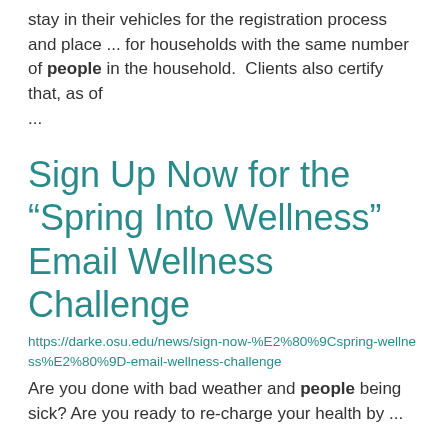stay in their vehicles for the registration process and place ... for households with the same number of people in the household.  Clients also certify that, as of ...
Sign Up Now for the “Spring Into Wellness” Email Wellness Challenge
https://darke.osu.edu/news/sign-now-%E2%80%9Cspring-wellness%E2%80%9D-email-wellness-challenge
Are you done with bad weather and people being sick? Are you ready to recharge your health by ...